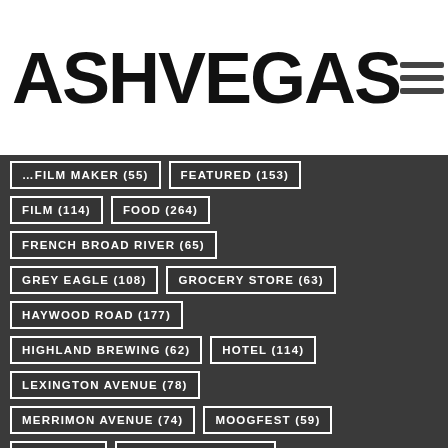ASHVEGAS
FILM (114)
FOOD (264)
FRENCH BROAD RIVER (65)
GREY EAGLE (108)
GROCERY STORE (63)
HAYWOOD ROAD (177)
HIGHLAND BREWING (62)
HOTEL (114)
LEXINGTON AVENUE (78)
MERRIMON AVENUE (74)
MOOGFEST (59)
MOVIE (91)
MOVIE REVIEW (278)
MUSIC (142)
NEW BELGIUM BREWING (80)
NEWSPAPER (60)
PATTON AVENUE (59)
PHOTOGRAPHY (68)
RESTAURANT (242)